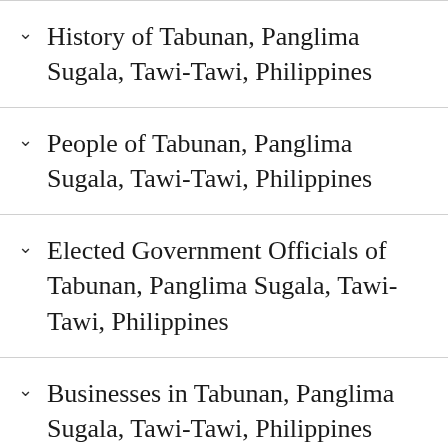History of Tabunan, Panglima Sugala, Tawi-Tawi, Philippines
People of Tabunan, Panglima Sugala, Tawi-Tawi, Philippines
Elected Government Officials of Tabunan, Panglima Sugala, Tawi-Tawi, Philippines
Businesses in Tabunan, Panglima Sugala, Tawi-Tawi, Philippines